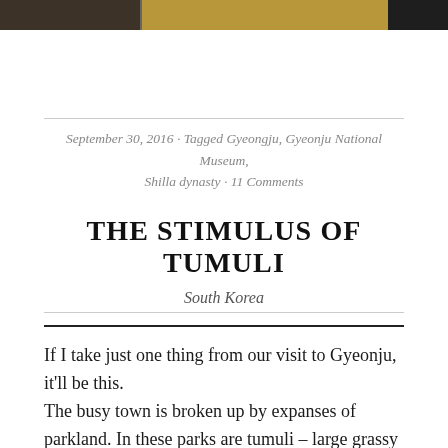[Figure (photo): Strip of photos at the top of the page showing artifacts and exhibits, partially cropped]
September 30, 2016 · Tagged Gyeongju, Gyeonju National Museum, Shilla dynasty · 11 Comments
THE STIMULUS OF TUMULI
South Korea
If I take just one thing from our visit to Gyeonju, it'll be this.
The busy town is broken up by expanses of parkland. In these parks are tumuli – large grassy mounds. Some are fairly small, some